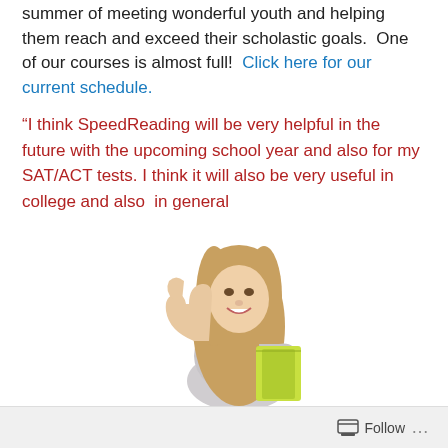summer of meeting wonderful youth and helping them reach and exceed their scholastic goals.  One of our courses is almost full!  Click here for our current schedule.
“I think SpeedReading will be very helpful in the future with the upcoming school year and also for my SAT/ACT tests. I think it will also be very useful in college and also  in general
[Figure (photo): A smiling teenage girl with long blonde hair, wearing a grey top, giving a thumbs up with one hand and holding green notebooks with the other arm, photographed against a white background.]
Follow